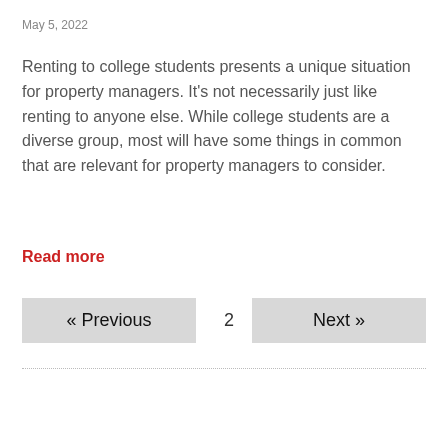May 5, 2022
Renting to college students presents a unique situation for property managers. It’s not necessarily just like renting to anyone else. While college students are a diverse group, most will have some things in common that are relevant for property managers to consider.
Read more
« Previous  2  Next »